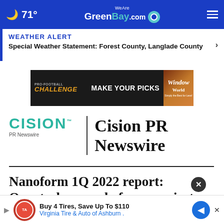71° WeAreGreenBay.com
WEATHER ALERT
Special Weather Statement: Forest County, Langlade County
[Figure (infographic): Pro Football Challenge advertisement banner: 'MAKE YOUR PICKS' with Window World logo on dark background with football]
[Figure (logo): Cision PR Newswire logo with teal CISION text and 'PR Newswire' subtitle, followed by 'Cision PR Newswire' in large serif text]
Nanoform 1Q 2022 report: Quarterly record of new projects and new customers
[Figure (infographic): Bottom advertisement: Buy 4 Tires, Save Up To $110 - Virginia Tire & Auto of Ashburn with navigation arrow icon]